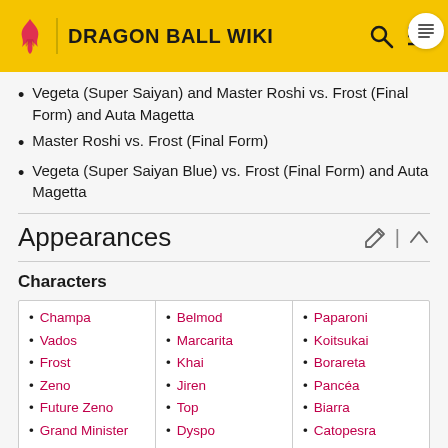DRAGON BALL WIKI
Vegeta (Super Saiyan) and Master Roshi vs. Frost (Final Form) and Auta Magetta
Master Roshi vs. Frost (Final Form)
Vegeta (Super Saiyan Blue) vs. Frost (Final Form) and Auta Magetta
Appearances
Characters
| Column 1 | Column 2 | Column 3 |
| --- | --- | --- |
| Champa | Belmod | Paparoni |
| Vados | Marcarita | Koitsukai |
| Frost | Khai | Borareta |
| Zeno | Jiren | Pancéa |
| Future Zeno | Top | Biarra |
| Grand Minister | Dyspo | Catopesra |
| Fyre | Maji-Kayo | Rabanra |